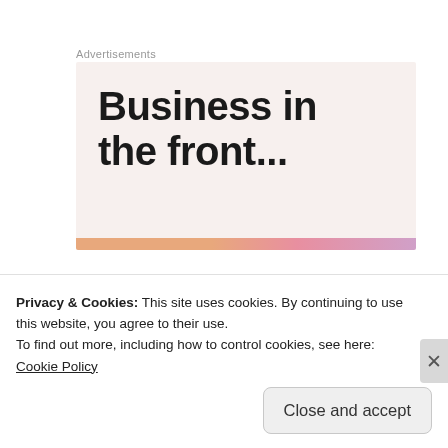Advertisements
[Figure (illustration): Advertisement banner with light pink/beige background showing bold text 'Business in the front...' with a colorful gradient stripe at the bottom]
[Figure (photo): Circular avatar photo of a person with glasses and brown hair]
jennyinneverland
SEP 2, 2018 AT 9:22 AM
Privacy & Cookies: This site uses cookies. By continuing to use this website, you agree to their use.
To find out more, including how to control cookies, see here: Cookie Policy
Close and accept